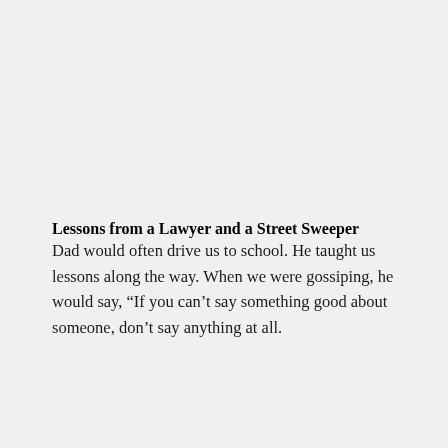Lessons from a Lawyer and a Street Sweeper
Dad would often drive us to school. He taught us lessons along the way. When we were gossiping, he would say, “If you can’t say something good about someone, don’t say anything at all.